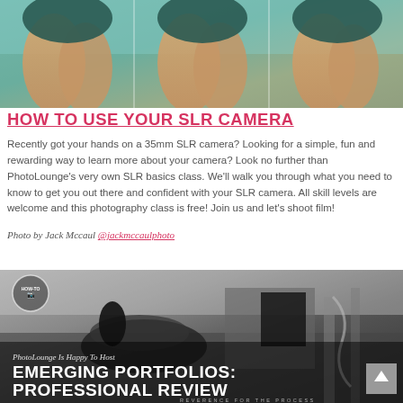[Figure (photo): Three tiled horizontal photographs showing a person's legs/body in a poolside or outdoor setting with teal/tan tones]
HOW TO USE YOUR SLR CAMERA
Recently got your hands on a 35mm SLR camera? Looking for a simple, fun and rewarding way to learn more about your camera? Look no further than PhotoLounge's very own SLR basics class. We'll walk you through what you need to know to get you out there and confident with your SLR camera. All skill levels are welcome and this photography class is free! Join us and let's shoot film!
Photo by Jack Mccaul @jackmccaulphoto
[Figure (photo): Black and white photograph of a horse saddle and stable area with text overlay reading 'EMERGING PORTFOLIOS: PROFESSIONAL REVIEW' and italic subtitle 'PhotoLounge Is Happy To Host']